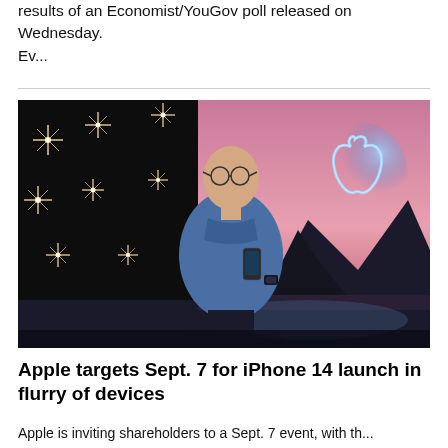results of an Economist/YouGov poll released on Wednesday. Ev...
[Figure (photo): Tim Cook, Apple CEO, standing with arms crossed holding an iPhone in front of a backdrop showing the glowing Apple logo with pink sky and mountains, surrounded by starburst lights on a dark background.]
Apple targets Sept. 7 for iPhone 14 launch in flurry of devices
Apple is inviting shareholders to a Sept. 7 event, with th...